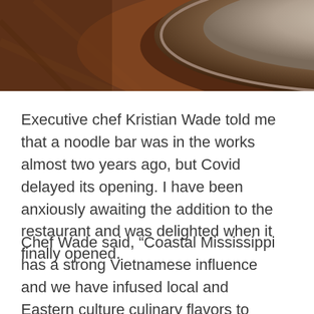[Figure (photo): Close-up photo of a speckled stone or ceramic bowl/mortar on a warm wooden surface, warm brown tones, cropped at the top of the page.]
Executive chef Kristian Wade told me that a noodle bar was in the works almost two years ago, but Covid delayed its opening. I have been anxiously awaiting the addition to the restaurant and was delighted when it finally opened.
Chef Wade said, “Coastal Mississippi has a strong Vietnamese influence and we have infused local and Eastern culture culinary flavors to develop the Jia menu by delivering the finest product available while also focusing on simplicity and letting the food speak for